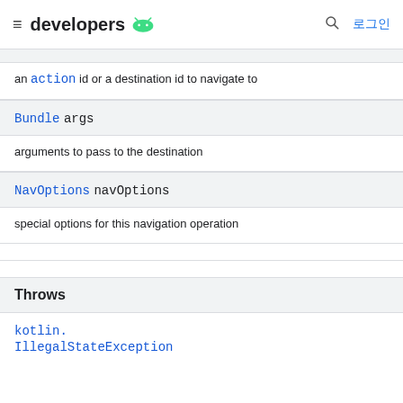developers (Android logo) | search | 로그인
an action id or a destination id to navigate to
| Bundle args |
| --- |
arguments to pass to the destination
| NavOptions navOptions |
| --- |
special options for this navigation operation
Throws
kotlin.
IllegalStateException